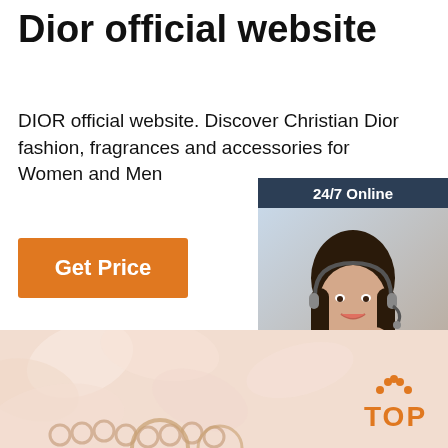Dior official website
DIOR official website. Discover Christian Dior fashion, fragrances and accessories for Women and Men
[Figure (other): Orange 'Get Price' button]
[Figure (other): Chat widget with '24/7 Online' header, agent photo, 'Click here for free chat!' text, and orange 'QUOTATION' button]
[Figure (other): Light peach/pink background section with decorative floral elements and TOP logo with orange dots arc, and partial jewelry items visible at bottom]
[Figure (other): Orange 'TOP' logo with dotted arc above in bottom right of page]